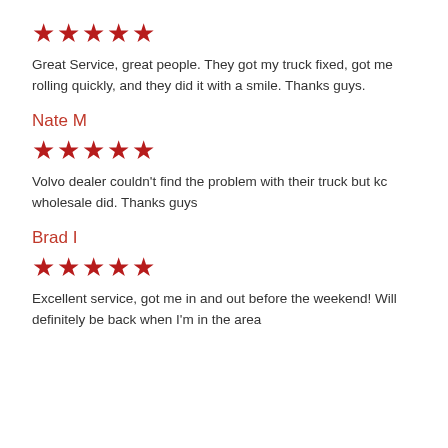[Figure (other): Five red stars rating]
Great Service, great people. They got my truck fixed, got me rolling quickly, and they did it with a smile. Thanks guys.
Nate M
[Figure (other): Five red stars rating]
Volvo dealer couldn't find the problem with their truck but kc wholesale did. Thanks guys
Brad I
[Figure (other): Five red stars rating]
Excellent service, got me in and out before the weekend! Will definitely be back when I'm in the area